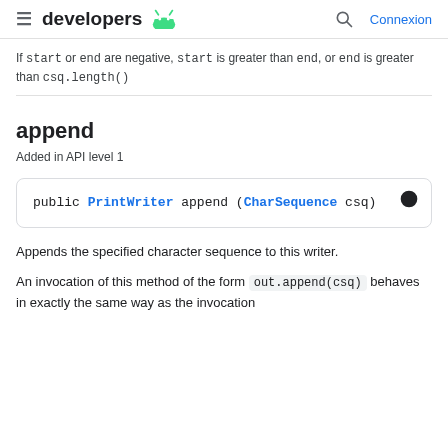developers [android logo] | [search icon] Connexion
If start or end are negative, start is greater than end, or end is greater than csq.length()
append
Added in API level 1
public PrintWriter append (CharSequence csq)
Appends the specified character sequence to this writer.
An invocation of this method of the form out.append(csq) behaves in exactly the same way as the invocation